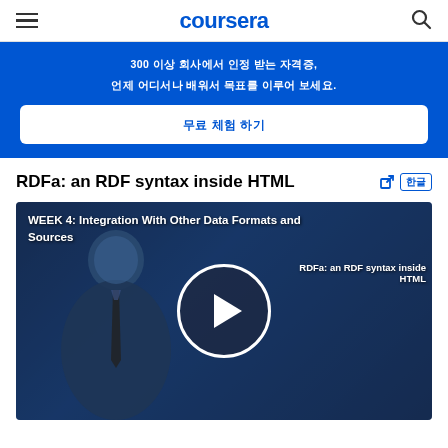coursera
300 이상 회사에서 인정 받는 자격증. 언제 어디서나 배워서 목표를 이루어 보세요.
무료 체험 하기
RDFa: an RDF syntax inside HTML
[Figure (screenshot): Video thumbnail showing a lecturer with WEEK 4: Integration With Other Data Formats and Sources overlay text, and a play button circle in the center. Text 'RDFa: an RDF syntax inside HTML' visible on right side of the video.]